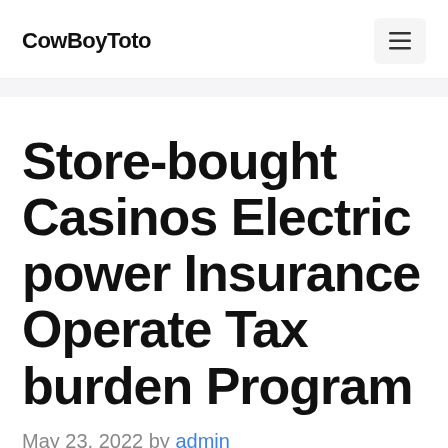CowBoyToto
Store-bought Casinos Electric power Insurance Operate Tax burden Program
May 23, 2022 by admin